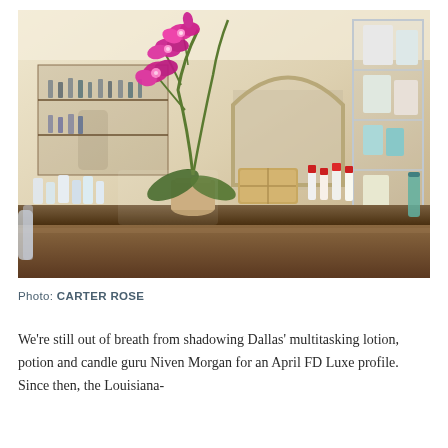[Figure (photo): Interior of a fragrance/beauty boutique with rows of perfume bottles and beauty products on a long counter, an orchid plant with pink flowers in the foreground, glass shelving unit on the right with white boxed products, stone arch doorway in the background, and shelving with bottles along the left wall.]
Photo: CARTER ROSE
We're still out of breath from shadowing Dallas' multitasking lotion, potion and candle guru Niven Morgan for an April FD Luxe profile. Since then, the Louisiana-